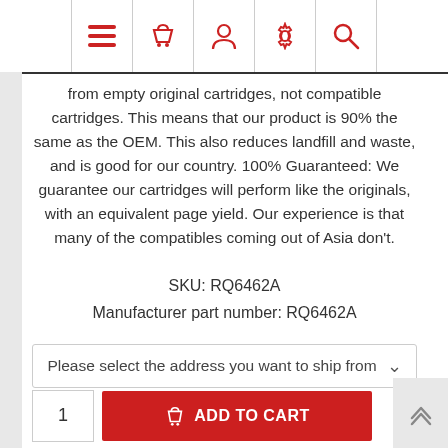[Figure (screenshot): Navigation bar with red icons: hamburger menu, shopping basket, person/account, settings gear, search magnifier]
from empty original cartridges, not compatible cartridges. This means that our product is 90% the same as the OEM. This also reduces landfill and waste, and is good for our country. 100% Guaranteed: We guarantee our cartridges will perform like the originals, with an equivalent page yield. Our experience is that many of the compatibles coming out of Asia don't.
SKU: RQ6462A
Manufacturer part number: RQ6462A
Please select the address you want to ship from
[Figure (screenshot): Add to cart row with quantity box showing 1 and red ADD TO CART button with basket icon]